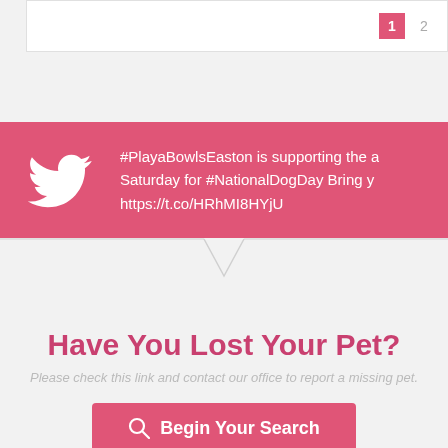1 2
#PlayaBowlsEaston is supporting the a Saturday for #NationalDogDay Bring y https://t.co/HRhMI8HYjU
Have You Lost Your Pet?
Please check this link and contact our office to report a missing pet.
Begin Your Search